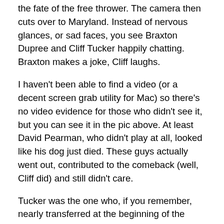the fate of the free thrower. The camera then cuts over to Maryland. Instead of nervous glances, or sad faces, you see Braxton Dupree and Cliff Tucker happily chatting. Braxton makes a joke, Cliff laughs.
I haven't been able to find a video (or a decent screen grab utility for Mac) so there's no video evidence for those who didn't see it, but you can see it in the pic above. At least David Pearman, who didn't play at all, looked like his dog just died. These guys actually went out, contributed to the comeback (well, Cliff did) and still didn't care.
Tucker was the one who, if you remember, nearly transferred at the beginning of the year. Braxton is the one who, if you've ever watched a game, can't jump or run. Hey guys: just know that you're not indispensible. When you're playing as poorly as you to are right now,